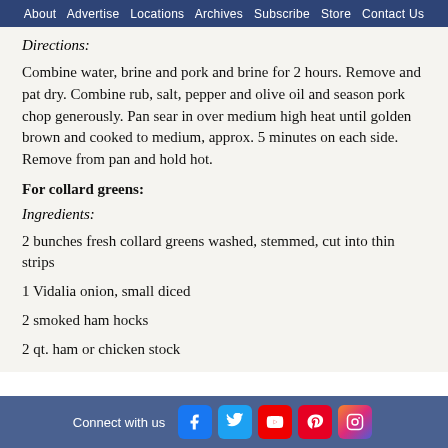About   Advertise   Locations   Archives   Subscribe   Store   Contact Us
Directions:
Combine water, brine and pork and brine for 2 hours. Remove and pat dry. Combine rub, salt, pepper and olive oil and season pork chop generously. Pan sear in over medium high heat until golden brown and cooked to medium, approx. 5 minutes on each side. Remove from pan and hold hot.
For collard greens:
Ingredients:
2 bunches fresh collard greens washed, stemmed, cut into thin strips
1 Vidalia onion, small diced
2 smoked ham hocks
2 qt. ham or chicken stock
Connect with us